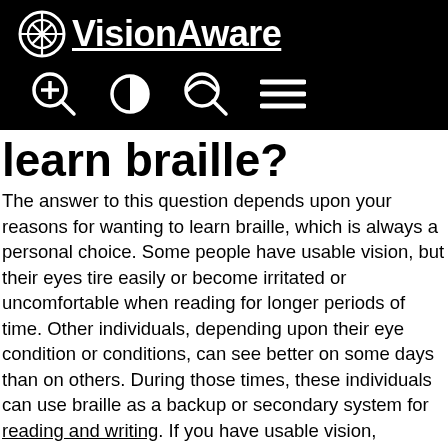APH VisionAware
learn braille?
The answer to this question depends upon your reasons for wanting to learn braille, which is always a personal choice. Some people have usable vision, but their eyes tire easily or become irritated or uncomfortable when reading for longer periods of time. Other individuals, depending upon their eye condition or conditions, can see better on some days than on others. During those times, these individuals can use braille as a backup or secondary system for reading and writing. If you have usable vision, consider having a low vision examination conducted by an ophthalmologist or optometrist who has a special